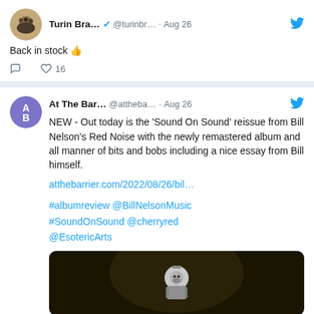[Figure (screenshot): Twitter/social media feed screenshot showing two tweets. First tweet from Turin Bra... @turinbr... Aug 26 saying 'Back in stock 👍' with 16 likes. Second tweet from At The Bar... @attheba... Aug 26 about a 'Sound On Sound' reissue from Bill Nelson's Red Noise, with link atthebarrier.com/2022/08/26/bil... and hashtags #albumreview @BillNelsonMusic #SoundOnSound @cherryred @EsotericArts, followed by a dark image of a skeleton figure in a hat.]